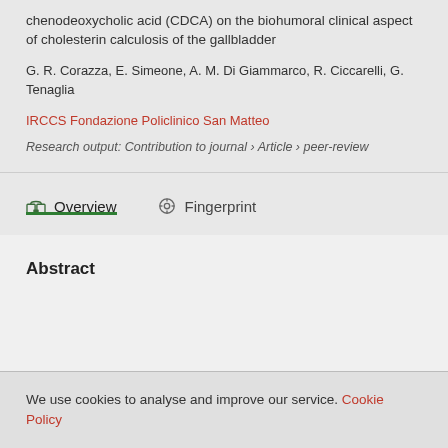chenodeoxycholic acid (CDCA) on the biohumoral clinical aspect of cholesterin calculosis of the gallbladder
G. R. Corazza, E. Simeone, A. M. Di Giammarco, R. Ciccarelli, G. Tenaglia
IRCCS Fondazione Policlinico San Matteo
Research output: Contribution to journal › Article › peer-review
Overview
Fingerprint
Abstract
We use cookies to analyse and improve our service. Cookie Policy